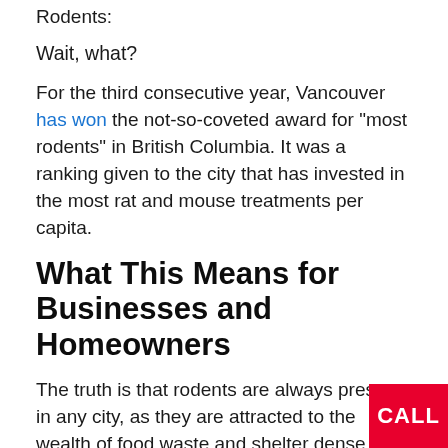Rodents:
Wait, what?
For the third consecutive year, Vancouver has won the not-so-coveted award for “most rodents” in British Columbia. It was a ranking given to the city that has invested in the most rat and mouse treatments per capita.
What This Means for Businesses and Homeowners
The truth is that rodents are always present in any city, as they are attracted to the wealth of food waste and shelter dense cities tend to make. As the largest city in BC, it’s not particularly surprising that it would also be prone to more rats.
It’s not the presence of rats that is an issue. It way they calculated which area has the most rats.
[Figure (other): Red CALL button in bottom right corner]